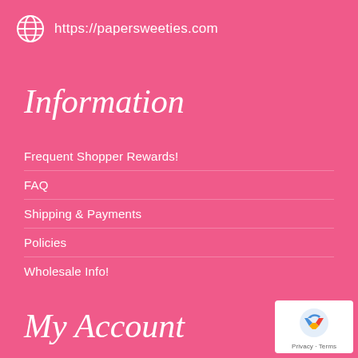https://papersweeties.com
Information
Frequent Shopper Rewards!
FAQ
Shipping & Payments
Policies
Wholesale Info!
My Account
Account details
Checkout
[Figure (logo): reCAPTCHA badge with Privacy and Terms text]